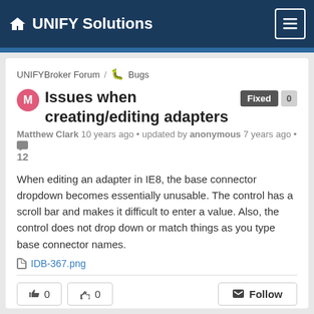UNIFY Solutions
UNIFYBroker Forum / Bugs
Issues when creating/editing adapters
Matthew Clark 10 years ago • updated by anonymous 7 years ago • 12
When editing an adapter in IE8, the base connector dropdown becomes essentially unusable. The control has a scroll bar and makes it difficult to enter a value. Also, the control does not drop down or match things as you type base connector names.
IDB-367.png